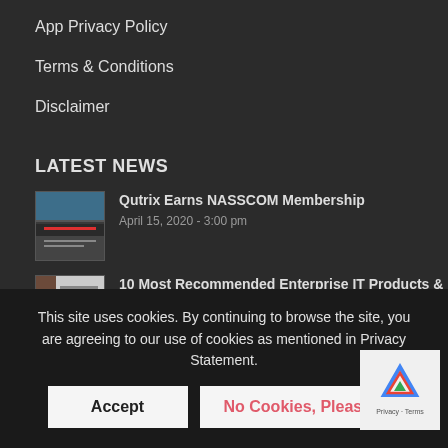App Privacy Policy
Terms & Conditions
Disclaimer
LATEST NEWS
Qutrix Earns NASSCOM Membership
April 15, 2020 - 3:00 pm
10 Most Recommended Enterprise IT Products & Software Providers
December 30, 2019 - 10:41 am
NEWSLE…
This site uses cookies. By continuing to browse the site, you are agreeing to our use of cookies as mentioned in Privacy Statement.